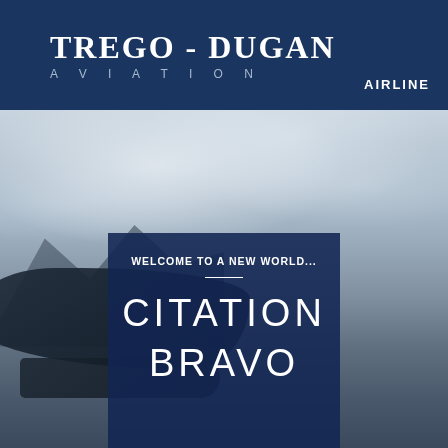[Figure (logo): Trego-Dugan Aviation logo on dark blue header bar with 'AIRLINE' text on right]
TREGO-DUGAN
AVIATION
AIRLINE
[Figure (photo): Aerial photo of snow-capped mountains with a jet aircraft silhouette visible in the foreground lower left]
WELCOME TO A NEW WORLD...
CITATION
BRAVO